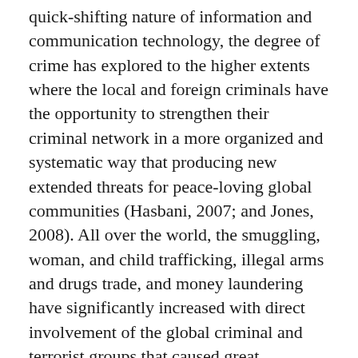quick-shifting nature of information and communication technology, the degree of crime has explored to the higher extents where the local and foreign criminals have the opportunity to strengthen their criminal network in a more organized and systematic way that producing new extended threats for peace-loving global communities (Hasbani, 2007; and Jones, 2008). All over the world, the smuggling, woman, and child trafficking, illegal arms and drugs trade, and money laundering have significantly increased with direct involvement of the global criminal and terrorist groups that caused great challenges to national and international policing. At the same time, a religious extremist is increasing their global network; in most of the cases of organized crimes, there is a direct connection with the foreign counterpart that increasingly demand enhanced cooperation among the international police and urged for legislative reforms to hand over the criminal to the